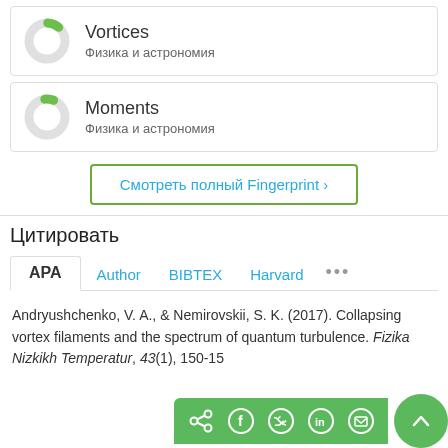[Figure (donut-chart): Small donut chart with green segment, labeled Vortices]
Vortices
Физика и астрономия
[Figure (donut-chart): Small donut chart with green segment, labeled Moments]
Moments
Физика и астрономия
Смотреть полный Fingerprint ›
Цитировать
APA  Author  BIBTEX  Harvard  •••
Andryushchenko, V. A., & Nemirovskii, S. K. (2017). Collapsing vortex filaments and the spectrum of quantum turbulence. Fizika Nizkikh Temperatur, 43(1), 150-15
[Figure (infographic): Share buttons bar with green background: share, Facebook, Twitter, LinkedIn, email icons; and a green circular up-arrow button]